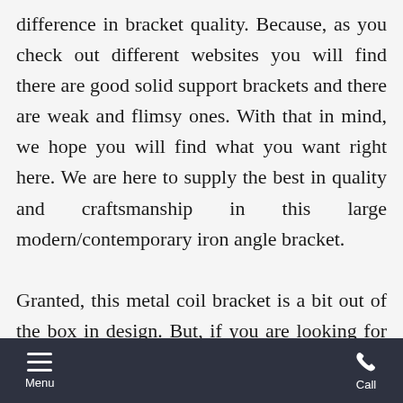difference in bracket quality. Because, as you check out different websites you will find there are good solid support brackets and there are weak and flimsy ones. With that in mind, we hope you will find what you want right here. We are here to supply the best in quality and craftsmanship in this large modern/contemporary iron angle bracket.

Granted, this metal coil bracket is a bit out of the box in design. But, if you are looking for something different and
Menu  Call